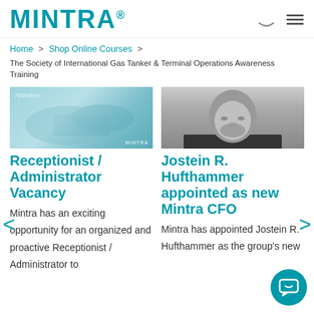MINTRA®
Home > Shop Online Courses > The Society of International Gas Tanker & Terminal Operations Awareness Training
[Figure (photo): Mintra branded image with Aberdeen text overlay, bluish toned photo]
[Figure (photo): Black and white headshot of a man with beard and suit]
Receptionist / Administrator Vacancy
Mintra has an exciting opportunity for an organized and proactive Receptionist / Administrator to
Jostein R. Hufthammer appointed as new Mintra CFO
Mintra has appointed Jostein R. Hufthammer as the group's new